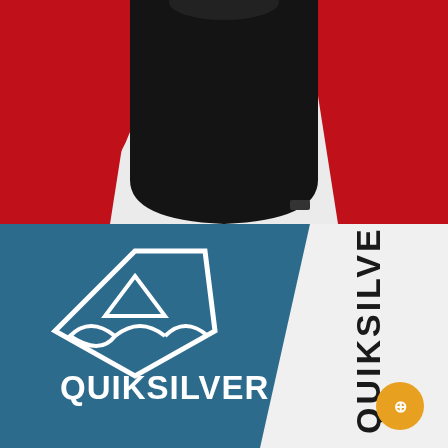[Figure (photo): Top half: product photo of a long-sleeve rash guard shirt with black body and red sleeves, shown from the chest/torso, on a light gray background.]
[Figure (photo): Bottom half: close-up of a blue and white Quiksilver rash guard showing the Quiksilver logo (wave/mountain icon) and brand name on the chest, with 'QUIKSILVER' text printed vertically on the white sleeve. An orange circular button/icon is visible in the bottom right.]